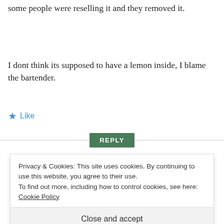some people were reselling it and they removed it.
I dont think its supposed to have a lemon inside, I blame the bartender.
★ Like
REPLY
Privacy & Cookies: This site uses cookies. By continuing to use this website, you agree to their use.
To find out more, including how to control cookies, see here: Cookie Policy
Close and accept